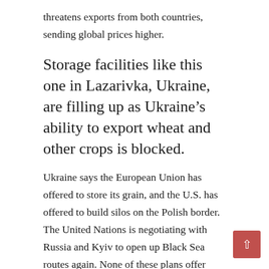threatens exports from both countries, sending global prices higher.
Storage facilities like this one in Lazarivka, Ukraine, are filling up as Ukraine’s ability to export wheat and other crops is blocked.
Ukraine says the European Union has offered to store its grain, and the U.S. has offered to build silos on the Polish border. The United Nations is negotiating with Russia and Kyiv to open up Black Sea routes again. None of these plans offer short-term answers for farmers looking for storage space in the next few months.
The potential shortfall adds another problem to the long list faced by Ukrainian farmers, who have struggled to find enough fuel and fertilizer amid Russia’s invasion and have had their fields bombed and their grain, equipment and sometimes entire